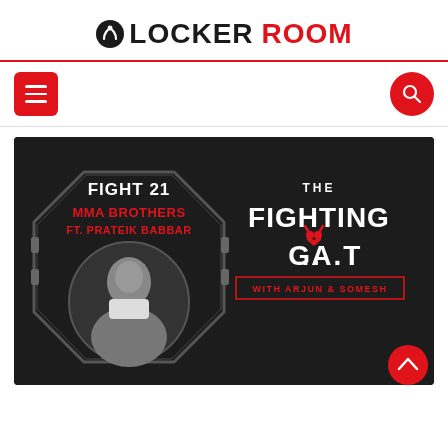LOCKER ROOM
[Figure (infographic): Navigation bar with hamburger menu button on left and search button on right, with red top border]
[Figure (illustration): Podcast promotional image for 'The Fighting G.O.A.T with Arjun & Somesh' - Fight 21, MMA Brothers ft. Prateik Babbar, dark background with octagon shape and a person's photo]